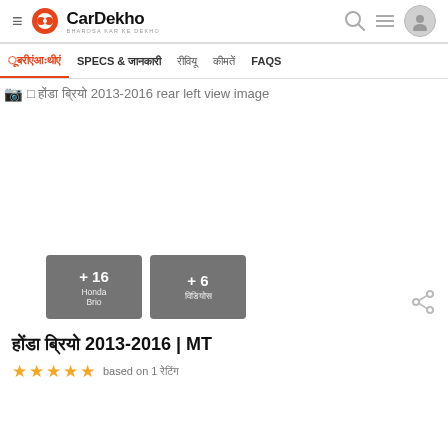CarDekho - BHAROSA KAR KE DEKHO
Tab navigation: [Hindi] | SPECS & [Hindi] | [Hindi] | [Hindi] | FAQS
[Figure (photo): Broken image placeholder with alt text: [Hindi] [Hindi] 2013-2016 rear left view image]
[Figure (photo): Thumbnail overlays: +16 Honda Brio images, +6 [Hindi] videos]
[Honda Brio in Hindi] 2013-2016 | MT
★★★★☆ based on 1 [Hindi]